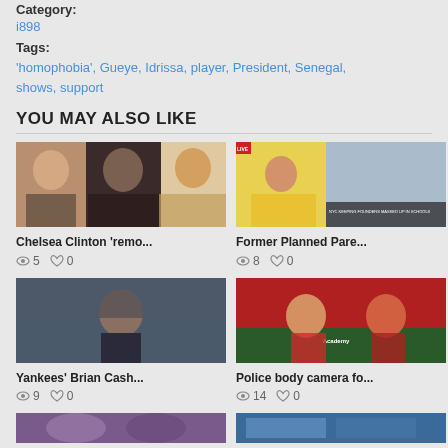Category:
i898
Tags:
'homophobia', Gueye, Idrissa, player, President, Senegal, shows, support
YOU MAY ALSO LIKE
[Figure (photo): Chelsea Clinton with two others at an event]
Chelsea Clinton 'remo...
5 views, 0 likes
[Figure (photo): Fox News live broadcast screenshot with reporter and street scene]
Former Planned Pare...
8 views, 0 likes
[Figure (photo): Yankees manager Brian Cashman on baseball field]
Yankees' Brian Cash...
9 views, 0 likes
[Figure (photo): Baseball players near dugout with Academy sponsorship board]
Police body camera fo...
14 views, 0 likes
[Figure (photo): Partially visible image at bottom left]
[Figure (photo): Partially visible image at bottom right]